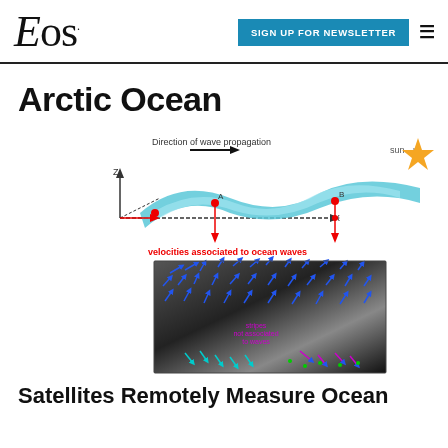Eos | SIGN UP FOR NEWSLETTER
Arctic Ocean
[Figure (schematic): Scientific diagram showing wave propagation over ocean surface with labeled axes (Z, X), points A and B, red dots indicating wave positions, blue arrow labeled 'Direction of wave propagation', red text 'velocities associated to ocean waves', and a satellite SAR image below showing ocean surface with blue, cyan, magenta vectors and text 'stripes not associated to waves'. A golden star labeled 'sun' is shown in the upper right.]
Satellites Remotely Measure Ocean